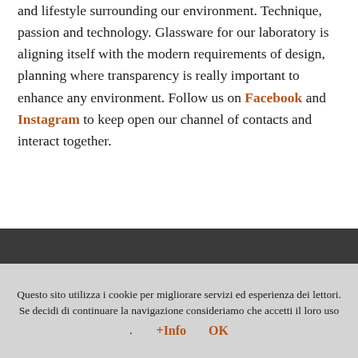and lifestyle surrounding our environment. Technique, passion and technology. Glassware for our laboratory is aligning itself with the modern requirements of design, planning where transparency is really important to enhance any environment. Follow us on Facebook and Instagram to keep open our channel of contacts and interact together.
Questo sito utilizza i cookie per migliorare servizi ed esperienza dei lettori. Se decidi di continuare la navigazione consideriamo che accetti il loro uso
. +Info   OK